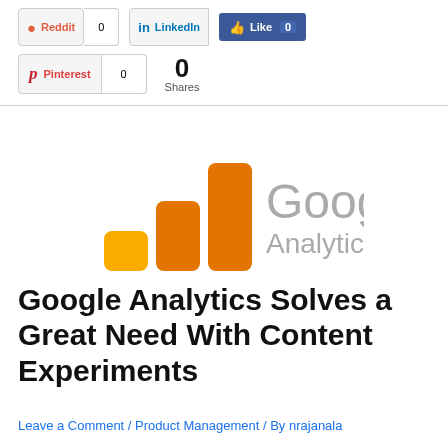[Figure (other): Social sharing buttons row 1: Reddit (0), LinkedIn, Facebook Like (0)]
[Figure (other): Social sharing buttons row 2: Pinterest (0), and 0 Shares counter]
[Figure (logo): Google Analytics logo — bar chart icon in orange/yellow and Google Analytics wordmark in gray]
Google Analytics Solves a Great Need With Content Experiments
Leave a Comment / Product Management / By nrajanala